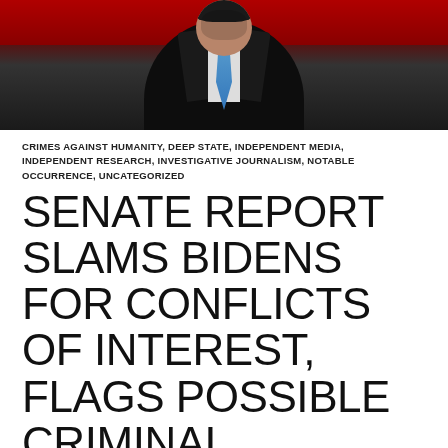[Figure (photo): Person in dark suit with blue tie, photographed from chest up, with red and dark background]
CRIMES AGAINST HUMANITY, DEEP STATE, INDEPENDENT MEDIA, INDEPENDENT RESEARCH, INVESTIGATIVE JOURNALISM, NOTABLE OCCURRENCE, UNCATEGORIZED
SENATE REPORT SLAMS BIDENS FOR CONFLICTS OF INTEREST, FLAGS POSSIBLE CRIMINAL ACTIVITY
23 SEP 2020   LEAVE A COMMENT
John Solomon
September 23rd, 2020